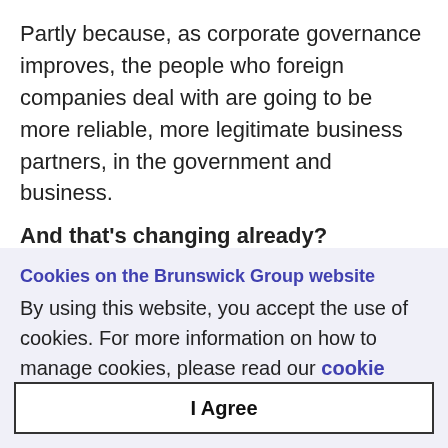Partly because, as corporate governance improves, the people who foreign companies deal with are going to be more reliable, more legitimate business partners, in the government and business.
And that's changing already?
Cookies on the Brunswick Group website
By using this website, you accept the use of cookies. For more information on how to manage cookies, please read our cookie policy.
I Agree